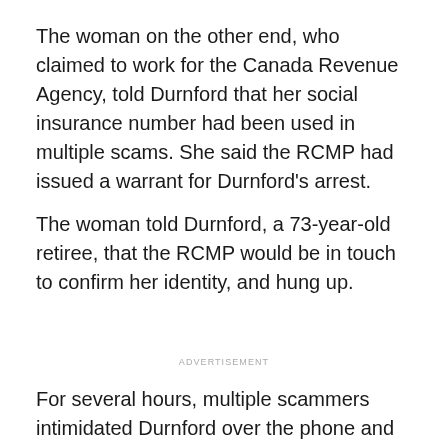The woman on the other end, who claimed to work for the Canada Revenue Agency, told Durnford that her social insurance number had been used in multiple scams. She said the RCMP had issued a warrant for Durnford's arrest.
The woman told Durnford, a 73-year-old retiree, that the RCMP would be in touch to confirm her identity, and hung up.
ADVERTISEMENT
For several hours, multiple scammers intimidated Durnford over the phone and repeatedly threatened her with arrest, eventually coercing her into turning over $12,000.